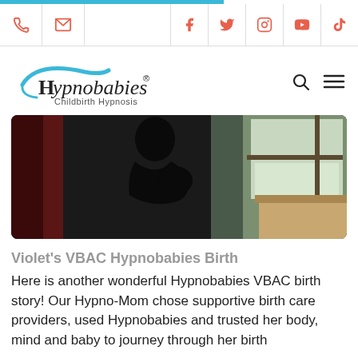Hypnobabies Childbirth Hypnosis — website navigation bar with phone, email, Facebook, Twitter, Instagram, YouTube, TikTok icons
[Figure (logo): Hypnobabies logo with teal swoosh and text 'Hypnobabies® Childbirth Hypnosis']
[Figure (photo): Silhouette of a pregnant woman standing by a window with a snowy outdoor scene visible]
Violet's VBAC Hypnobabies Birth
Here is another wonderful Hypnobabies VBAC birth story! Our Hypno-Mom chose supportive birth care providers, used Hypnobabies and trusted her body, mind and baby to journey through her birth